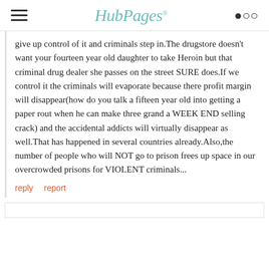HubPages
give up control of it and criminals step in.The drugstore doesn't want your fourteen year old daughter to take Heroin but that criminal drug dealer she passes on the street SURE does.If we control it the criminals will evaporate because there profit margin will disappear(how do you talk a fifteen year old into getting a paper rout when he can make three grand a WEEK END selling crack) and the accidental addicts will virtually disappear as well.That has happened in several countries already.Also,the number of people who will NOT go to prison frees up space in our overcrowded prisons for VIOLENT criminals...
reply   report